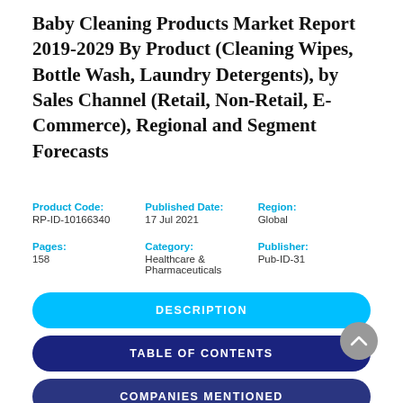Baby Cleaning Products Market Report 2019-2029 By Product (Cleaning Wipes, Bottle Wash, Laundry Detergents), by Sales Channel (Retail, Non-Retail, E-Commerce), Regional and Segment Forecasts
Product Code: RP-ID-10166340 | Published Date: 17 Jul 2021 | Region: Global | Pages: 158 | Category: Healthcare & Pharmaceuticals | Publisher: Pub-ID-31
DESCRIPTION
TABLE OF CONTENTS
COMPANIES MENTIONED
REQUEST SAMPLE PDF